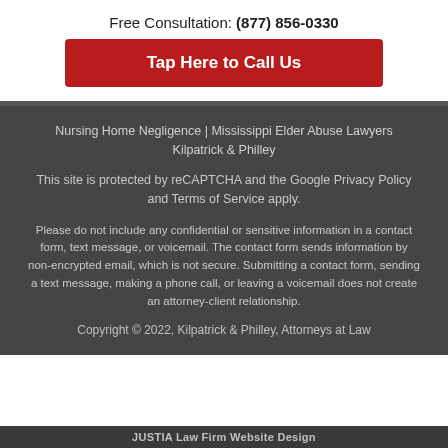Free Consultation: (877) 856-0330
Tap Here to Call Us
Nursing Home Negligence | Mississippi Elder Abuse Lawyers Kilpatrick & Philley
This site is protected by reCAPTCHA and the Google Privacy Policy and Terms of Service apply.
Please do not include any confidential or sensitive information in a contact form, text message, or voicemail. The contact form sends information by non-encrypted email, which is not secure. Submitting a contact form, sending a text message, making a phone call, or leaving a voicemail does not create an attorney-client relationship.
Copyright © 2022, Kilpatrick & Philley, Attorneys at Law
JUSTIA Law Firm Website Design